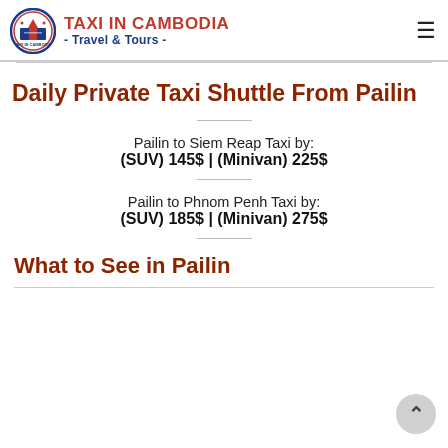[Figure (logo): Taxi in Cambodia Travel & Tours logo with circular emblem and brand name]
Daily Private Taxi Shuttle From Pailin
Pailin to Siem Reap Taxi by:
(SUV) 145$ | (Minivan) 225$
Pailin to Phnom Penh Taxi by:
(SUV) 185$ | (Minivan) 275$
What to See in Pailin